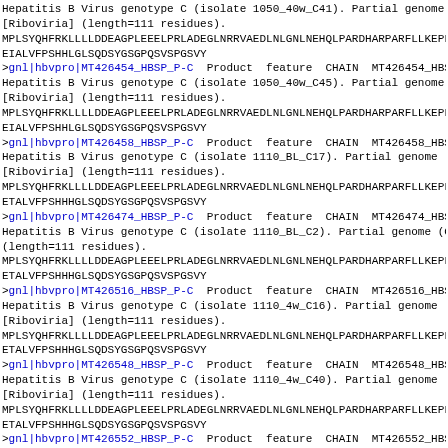Hepatitis B Virus genotype C (isolate 1050_40w_C41). Partial genome [Riboviria] (length=111 residues).
MPLSYQHFRKLLLLDDEAGPLEEELPRLADEGLNRRVAEDLNLGNLNEHQLPARDHARPARFLLKEPLCF
EIALVFPSHHLGLSQDSYGSGPQSVSPGSVY
>gnl|hbvpro|MT426454_HBSP_P-C  Product feature CHAIN MT426454_HBSP_P Hepatitis B Virus genotype C (isolate 1050_40w_C45). Partial genome [Riboviria] (length=111 residues).
MPLSYQHFRKLLLLDDEAGPLEEELPRLADEGLNRRVAEDLNLGNLNEHQLPARDHARPARFLLKEPLCF
EIALVFPSHHLGLSQDSYGSGPQSVSPGSVY
>gnl|hbvpro|MT426458_HBSP_P-C  Product feature CHAIN MT426458_HBSP_P Hepatitis B Virus genotype C (isolate 1110_BL_C17). Partial genome [Riboviria] (length=111 residues).
MPLSYQHFRKLLLLDDEAGPLEEELPRLADEGLNRRVAEDLNLGNLNEHQLPARDHARPARFLLKEPLCF
ETALVFPSHHHGLSQDSYGSGPQSVSPGSVY
>gnl|hbvpro|MT426474_HBSP_P-C  Product feature CHAIN MT426474_HBSP_P Hepatitis B Virus genotype C (isolate 1110_BL_C2). Partial genome (length=111 residues).
MPLSYQHFRKLLLLDDEAGPLEEELPRLADEGLNRRVAEDLNLGNLNEHQLPARDHARPARFLLKEPLCF
ETALVFPSHHHGLSQDSYGSGPQSVSPGSVY
>gnl|hbvpro|MT426516_HBSP_P-C  Product feature CHAIN MT426516_HBSP_P Hepatitis B Virus genotype C (isolate 1110_4w_C16). Partial genome [Riboviria] (length=111 residues).
MPLSYQHFRKLLLLDDEAGPLEEELPRLADEGLNRRVAEDLNLGNLNEHQLPARDHARPARFLLKEPLCF
ETALVFPSHHHGLSQDSYGSGPQSVSPGSVY
>gnl|hbvpro|MT426548_HBSP_P-C  Product feature CHAIN MT426548_HBSP_P Hepatitis B Virus genotype C (isolate 1110_4w_C40). Partial genome [Riboviria] (length=111 residues).
MPLSYQHFRKLLLLDDEAGPLEEELPRLADEGLNRRVAEDLNLGNLNEHQLPARDHARPARFLLKEPLCF
ETALVFPSHHHGLSQDSYGSGPQSVSPGSVY
>gnl|hbvpro|MT426552_HBSP_P-C  Product feature CHAIN MT426552_HBSP_P Hepatitis B Virus genotype C (isolate 1110_4w_C0). Partial genome (Co